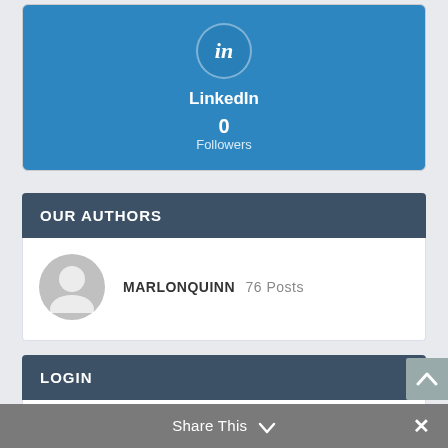[Figure (logo): LinkedIn social widget showing 'in' icon, LinkedIn label, 0 followers count]
OUR AUTHORS
[Figure (illustration): Author avatar placeholder circle with person silhouette]
MARLONQUINN 76 Posts
LOGIN
USERNAME
PASSWORD
Share This